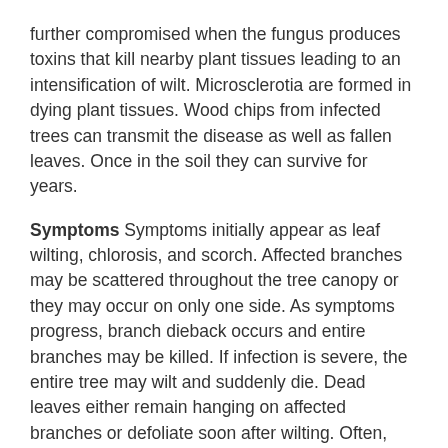further compromised when the fungus produces toxins that kill nearby plant tissues leading to an intensification of wilt. Microsclerotia are formed in dying plant tissues. Wood chips from infected trees can transmit the disease as well as fallen leaves. Once in the soil they can survive for years.
Symptoms Symptoms initially appear as leaf wilting, chlorosis, and scorch. Affected branches may be scattered throughout the tree canopy or they may occur on only one side. As symptoms progress, branch dieback occurs and entire branches may be killed. If infection is severe, the entire tree may wilt and suddenly die. Dead leaves either remain hanging on affected branches or defoliate soon after wilting. Often, dark brown-orangish streaks can be observed in the sapwood. Infected trees may die within a few weeks or live for years with a chronic reoccurrence of symptoms.